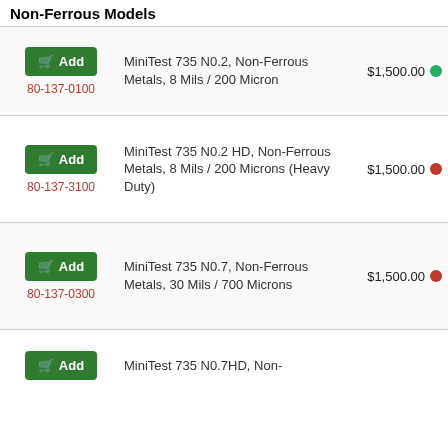Non-Ferrous Models
Add | 80-137-0100 | MiniTest 735 N0.2, Non-Ferrous Metals, 8 Mils / 200 Micron | $1,500.00
Add | 80-137-3100 | MiniTest 735 N0.2 HD, Non-Ferrous Metals, 8 Mils / 200 Microns (Heavy Duty) | $1,500.00
Add | 80-137-0300 | MiniTest 735 N0.7, Non-Ferrous Metals, 30 Mils / 700 Microns | $1,500.00
Add | MiniTest 735 N0.7HD, Non-